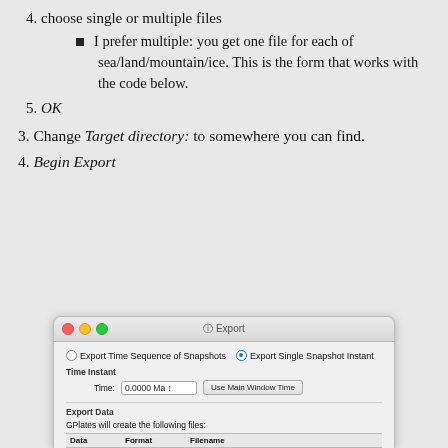4. choose single or multiple files
I prefer multiple: you get one file for each of sea/land/mountain/ice. This is the form that works with the code below.
5. OK
3. Change Target directory: to somewhere you can find.
4. Begin Export
[Figure (screenshot): macOS Export dialog window showing Export Time Sequence of Snapshots and Export Single Snapshot Instant radio buttons, a Time Instant section with Time field showing 0.0000 Ma and a Use Main Window Time button, and an Export Data section with GPlates will create the following files: table with Data, Format, Filename columns.]